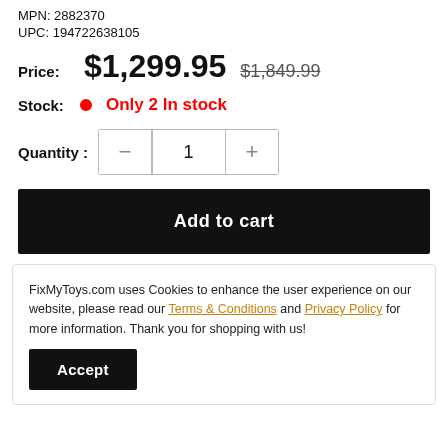MPN: 2882370
UPC: 194722638105
Price: $1,299.95 $1,849.99
Stock: Only 2 In stock
Quantity : 1
Add to cart
FixMyToys.com uses Cookies to enhance the user experience on our website, please read our Terms & Conditions and Privacy Policy for more information. Thank you for shopping with us!
Accept